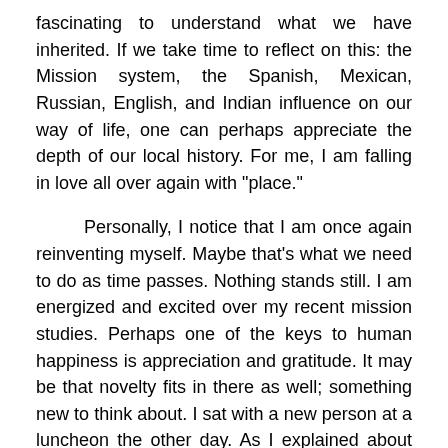fascinating to understand what we have inherited. If we take time to reflect on this: the Mission system, the Spanish, Mexican, Russian, English, and Indian influence on our way of life, one can perhaps appreciate the depth of our local history. For me, I am falling in love all over again with "place."
Personally, I notice that I am once again reinventing myself. Maybe that's what we need to do as time passes. Nothing stands still. I am energized and excited over my recent mission studies. Perhaps one of the keys to human happiness is appreciation and gratitude. It may be that novelty fits in there as well; something new to think about. I sat with a new person at a luncheon the other day. As I explained about my grief work and life coaching, she asked, "So what is the most important thing that you teach?" I said, "To live in gratitude." She smiled, "ah..." I also believe that if we can discover new things to fall in love with our lives will be richer. Right now, I am